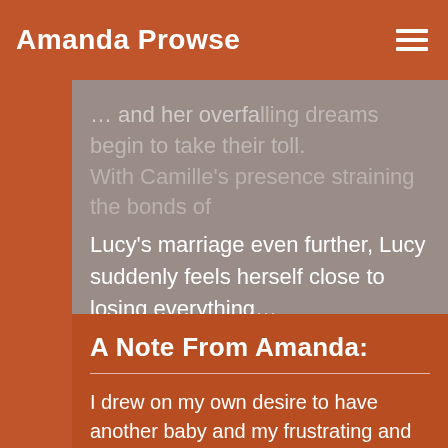Amanda Prowse
Lucy's marriage even further, Lucy suddenly feels herself close to losing everything…

This heart-wrenchingly poignant family drama from bestselling author Amanda Prowse asks the question: in today's hectic world, what does it mean to be a mother?
A Note From Amanda:
I drew on my own desire to have another baby and my frustrating and upsetting miscarriages to tell Lucy's story. Lucy wants to have a child with her partner who already has a daughter from a previous relationship but sometimes in life, you don't get what you want and